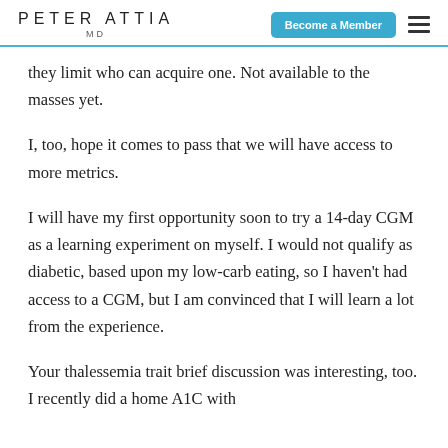PETER ATTIA MD | Become a Member
they limit who can acquire one. Not available to the masses yet.
I, too, hope it comes to pass that we will have access to more metrics.
I will have my first opportunity soon to try a 14-day CGM as a learning experiment on myself. I would not qualify as diabetic, based upon my low-carb eating, so I haven't had access to a CGM, but I am convinced that I will learn a lot from the experience.
Your thalessemia trait brief discussion was interesting, too. I recently did a home A1C with